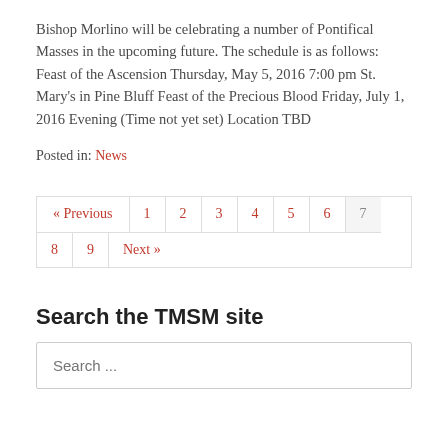Bishop Morlino will be celebrating a number of Pontifical Masses in the upcoming future. The schedule is as follows: Feast of the Ascension Thursday, May 5, 2016 7:00 pm St. Mary's in Pine Bluff Feast of the Precious Blood Friday, July 1, 2016 Evening (Time not yet set) Location TBD
Posted in: News
« Previous 1 2 3 4 5 6 7 8 9 Next »
Search the TMSM site
Search ...